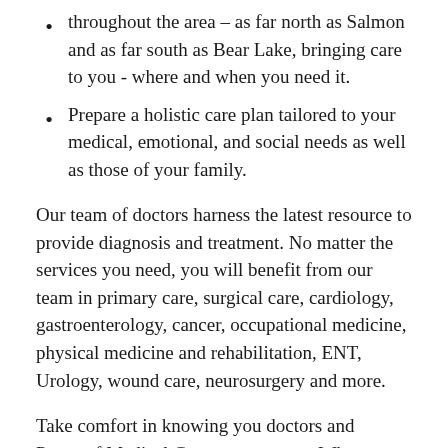throughout the area – as far north as Salmon and as far south as Bear Lake, bringing care to you - where and when you need it.
Prepare a holistic care plan tailored to your medical, emotional, and social needs as well as those of your family.
Our team of doctors harness the latest resource to provide diagnosis and treatment. No matter the services you need, you will benefit from our team in primary care, surgical care, cardiology, gastroenterology, cancer, occupational medicine, physical medicine and rehabilitation, ENT, Urology, wound care, neurosurgery and more.
Take comfort in knowing you doctors and Portneuf Medical Group are experts. When we put together your care team, we assembled those who are most qualified